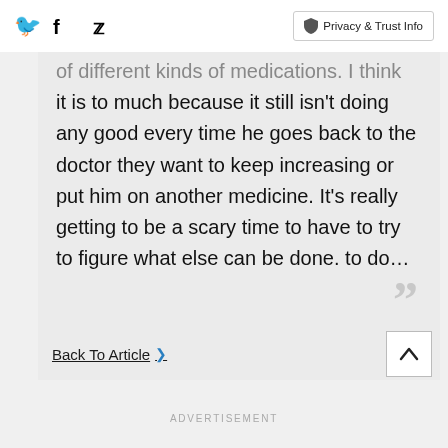Facebook Twitter | Privacy & Trust Info
of different kinds of medications. I think it is to much because it still isn't doing any good every time he goes back to the doctor they want to keep increasing or put him on another medicine. It's really getting to be a scary time to have to try to figure what else can be done. to do...
Back To Article >
ADVERTISEMENT